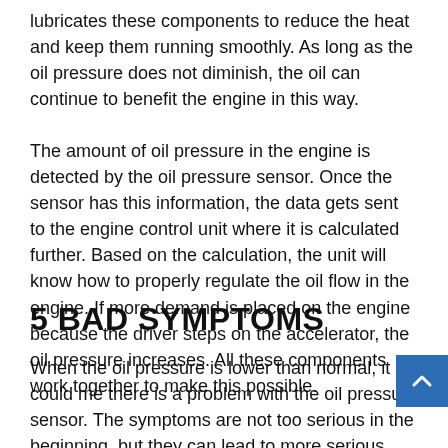lubricates these components to reduce the heat and keep them running smoothly. As long as the oil pressure does not diminish, the oil can continue to benefit the engine in this way.
The amount of oil pressure in the engine is detected by the oil pressure sensor. Once the sensor has this information, the data gets sent to the engine control unit where it is calculated further. Based on the calculation, the unit will know how to properly regulate the oil flow in the engine. If more demand is placed on the engine because the driver steps on the accelerator, the oil pressure increases. All these components work together to make this possible.
5 BAD SYMPTOMS
When the oil pressure is lower than normal, it could me there is a problem with the oil pressure sensor. The symptoms are not too serious in the beginning, but they can lead to more serious symptoms if you don't replace your oil pressure sensor early on. Therefore, take the